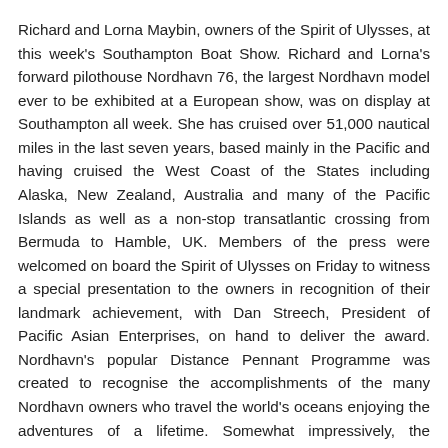Richard and Lorna Maybin, owners of the Spirit of Ulysses, at this week's Southampton Boat Show. Richard and Lorna's forward pilothouse Nordhavn 76, the largest Nordhavn model ever to be exhibited at a European show, was on display at Southampton all week. She has cruised over 51,000 nautical miles in the last seven years, based mainly in the Pacific and having cruised the West Coast of the States including Alaska, New Zealand, Australia and many of the Pacific Islands as well as a non-stop transatlantic crossing from Bermuda to Hamble, UK. Members of the press were welcomed on board the Spirit of Ulysses on Friday to witness a special presentation to the owners in recognition of their landmark achievement, with Dan Streech, President of Pacific Asian Enterprises, on hand to deliver the award. Nordhavn's popular Distance Pennant Programme was created to recognise the accomplishments of the many Nordhavn owners who travel the world's oceans enjoying the adventures of a lifetime. Somewhat impressively, the average miles travelled by members of the programme is a little under half of a circumnavigation for each registered owner.